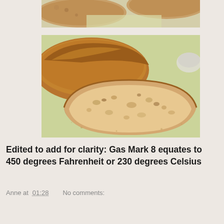[Figure (photo): Top portion of a photo showing sliced bread on a light yellow-green cutting board, partially cropped at top of page]
[Figure (photo): Photo of sliced rustic bread loaf on a light yellow-green cutting board, showing the cross-section with holes in the crumb]
Edited to add for clarity: Gas Mark 8 equates to 450 degrees Fahrenheit or 230 degrees Celsius
Anne at 01:28    No comments:
Share